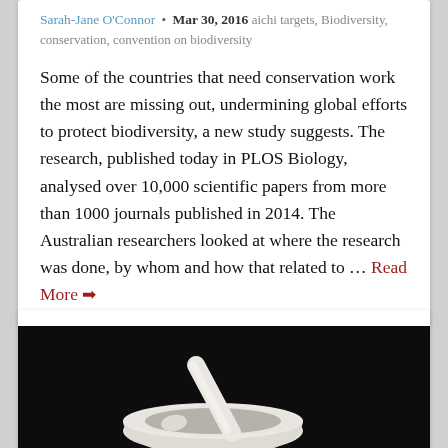Sarah-Jane O'Connor · Mar 30, 2016 aichi targets, Biodiversity, conservation, convention on biodiversity
Some of the countries that need conservation work the most are missing out, undermining global efforts to protect biodiversity, a new study suggests. The research, published today in PLOS Biology, analysed over 10,000 scientific papers from more than 1000 journals published in 2014. The Australian researchers looked at where the research was done, by whom and how that related to … Read More
[Figure (photo): A white mortar and pestle on a dark/black background, photographed from above at an angle.]